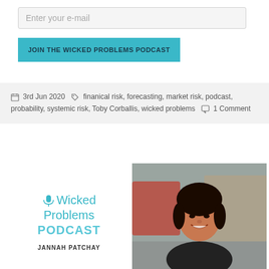Enter your e-mail
JOIN THE WICKED PROBLEMS PODCAST
3rd Jun 2020  finanical risk, forecasting, market risk, podcast, probability, systemic risk, Toby Corballis, wicked problems  1 Comment
[Figure (illustration): Wicked Problems Podcast logo with microphone icon, teal text reading 'Wicked Problems PODCAST', and guest name JANNAH PATCHAY below, alongside a photo of a smiling dark-haired woman outdoors with blurred red bus background.]